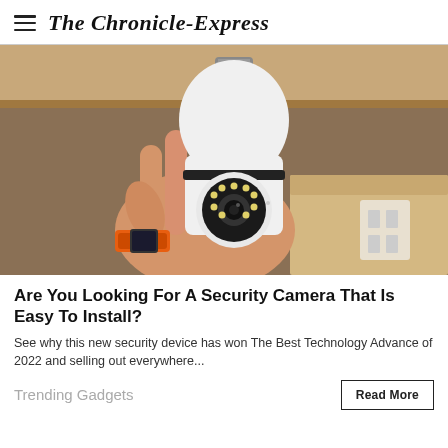The Chronicle-Express
[Figure (photo): A hand holding a white security camera shaped like a light bulb with a screw-in base. The camera has a circular lens with LED lights arranged around it. Person is wearing an orange-banded watch. Background shows cardboard boxes and an electrical outlet.]
Are You Looking For A Security Camera That Is Easy To Install?
See why this new security device has won The Best Technology Advance of 2022 and selling out everywhere...
Trending Gadgets